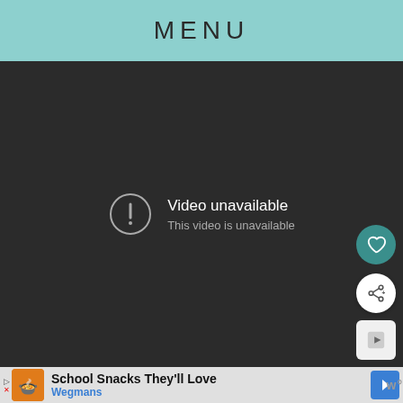MENU
[Figure (screenshot): Embedded video player showing 'Video unavailable - This video is unavailable' error message on dark background, with heart/favourite button, share button, and play button overlaid on the right side.]
School Snacks They'll Love
Wegmans